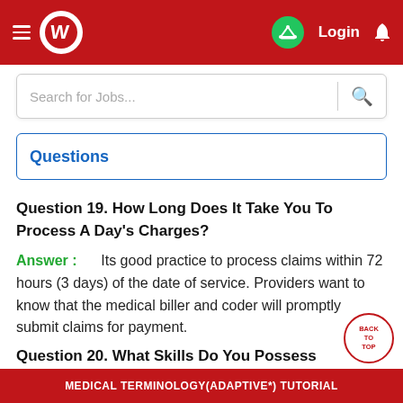Wisdomjobs header with logo, Login, and bell icon
Search for Jobs...
Questions
Question 19. How Long Does It Take You To Process A Day's Charges?
Answer : Its good practice to process claims within 72 hours (3 days) of the date of service. Providers want to know that the medical biller and coder will promptly submit claims for payment.
Question 20. What Skills Do You Possess That Make You An Excellent Contender To Work As A Medical...
MEDICAL TERMINOLOGY(ADAPTIVE*) TUTORIAL